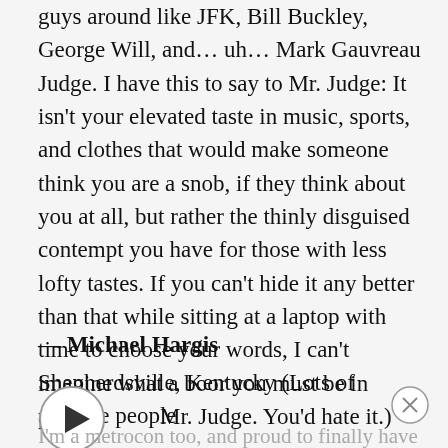guys around like JFK, Bill Buckley, George Will, and... uh... Mark Gauvreau Judge. I have this to say to Mr. Judge: It isn't your elevated taste in music, sports, and clothes that would make someone think you are a snob, if they think about you at all, but rather the thinly disguised contempt you have for those with less lofty tastes. If you can't hide it any better than that while sitting at a laptop with time to choose your words, I can't imagine what a boor you must be in person.
— Michael Hargis
Shepherdsville, Kentucky (Lots of average people here, Mr. Judge. You'd hate it.)
I'm a metrocon too, and proud to finally have a